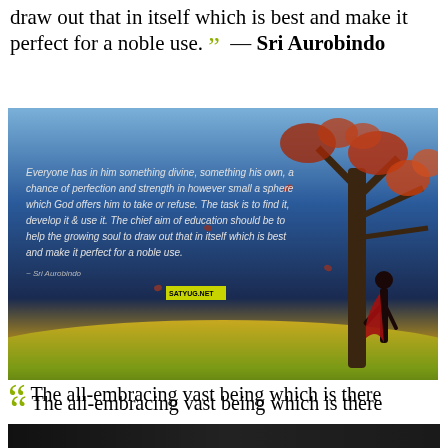draw out that in itself which is best and make it perfect for a noble use. ” — Sri Aurobindo
[Figure (illustration): Illustrated image with dark blue/night sky background and autumn tree on right side, containing the Sri Aurobindo quote: 'Everyone has in him something divine, something his own, a chance of perfection and strength in however small a sphere which God offers him to take or refuse. The task is to find it, develop it & use it. The chief aim of education should be to help the growing soul to draw out that in itself which is best and make it perfect for a noble use.' with attribution '~ Sri Aurobindo' and a watermark badge]
“ The all-embracing vast being which is there behind the play of the universe and with which you will have to identify yourself - for this is your true self. ” — Sri Aurobindo
[Figure (photo): Dark strip at bottom of page, beginning of another image]